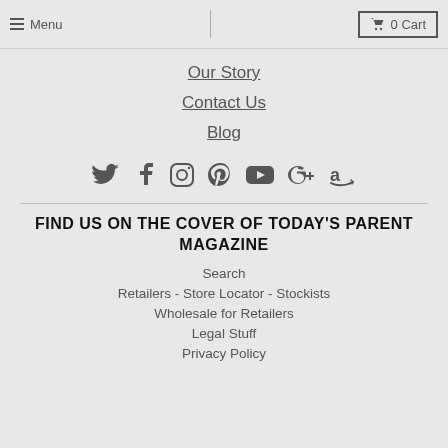Menu | 0 Cart
Our Story
Contact Us
Blog
[Figure (illustration): Social media icons: Twitter, Facebook, Instagram, Pinterest, YouTube, Google+, Amazon]
FIND US ON THE COVER OF TODAY'S PARENT MAGAZINE
Search
Retailers - Store Locator - Stockists
Wholesale for Retailers
Legal Stuff
Privacy Policy